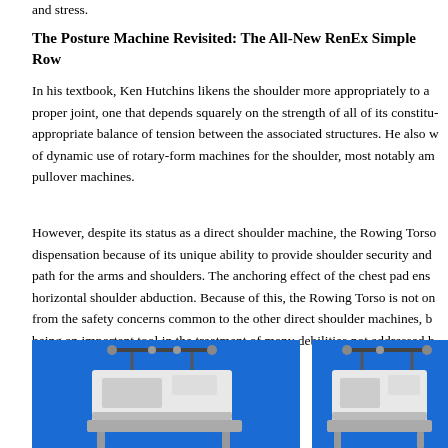and stress.
The Posture Machine Revisited: The All-New RenEx Simple Row
In his textbook, Ken Hutchins likens the shoulder more appropriately to a proper joint, one that depends squarely on the strength of all of its constituent parts and the appropriate balance of tension between the associated structures. He also warns of dynamic use of rotary-form machines for the shoulder, most notably arm-cross and pullover machines.
However, despite its status as a direct shoulder machine, the Rowing Torso receives special dispensation because of its unique ability to provide shoulder security and a safe movement path for the arms and shoulders. The anchoring effect of the chest pad ensures avoidance of horizontal shoulder abduction. Because of this, the Rowing Torso is not only largely exempt from the safety concerns common to the other direct shoulder machines, but it also qualifies as being an important tool in the treatment of many debilities not addressed b
[Figure (photo): Photo of a RenEx exercise machine against a blue background, left view]
[Figure (photo): Photo of a RenEx exercise machine against a blue background, right view]